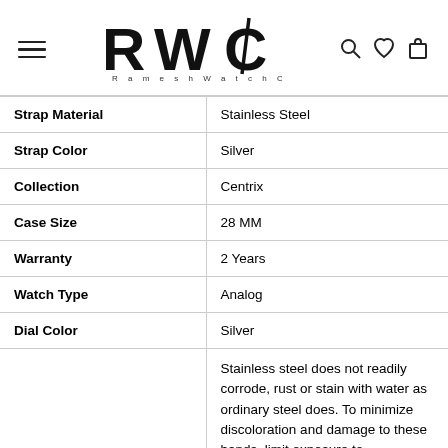RWC Ramesh Watch Co
| Strap Material | Stainless Steel |
| Strap Color | Silver |
| Collection | Centrix |
| Case Size | 28 MM |
| Warranty | 2 Years |
| Watch Type | Analog |
| Dial Color | Silver |
| Care Instructions | Stainless steel does not readily corrode, rust or stain with water as ordinary steel does. To minimize discoloration and damage to these bands, limit exposure to |